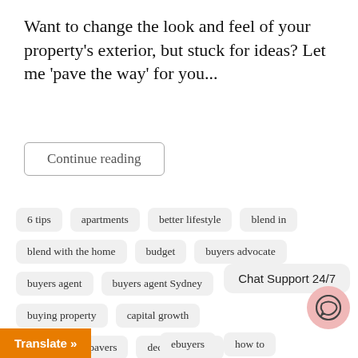Want to change the look and feel of your property's exterior, but stuck for ideas? Let me 'pave the way' for you...
Continue reading
6 tips
apartments
better lifestyle
blend in
blend with the home
budget
buyers advocate
buyers agent
buyers agent Sydney
buying property
capital growth
consider your pavers
deciding factor
first home buyer
for sale
hombuying
Chat Support 24/7
Translate »
ebuyers
how to